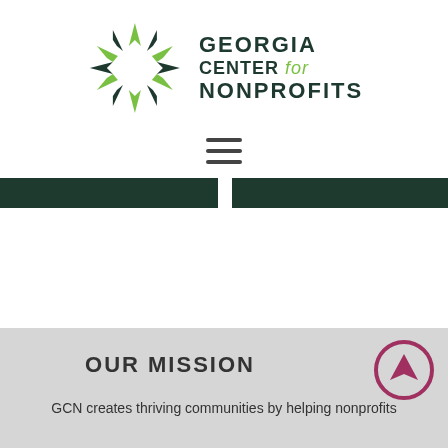[Figure (logo): Georgia Center for Nonprofits logo with green starburst/pinwheel icon and text 'GEORGIA CENTER for NONPROFITS']
[Figure (other): Hamburger menu icon (three horizontal lines)]
[Figure (other): Two dark green navigation bar segments with a white gap in the center]
OUR MISSION
GCN creates thriving communities by helping nonprofits